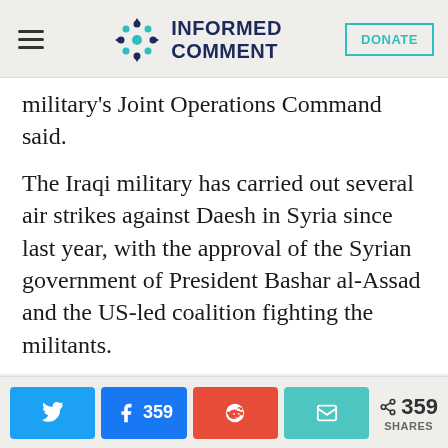Informed Comment
military's Joint Operations Command said.
The Iraqi military has carried out several air strikes against Daesh in Syria since last year, with the approval of the Syrian government of President Bashar al-Assad and the US-led coalition fighting the militants.
Iraq has good relations with Iran and Russia, Assad's main backers in the Syrian war, and also enjoys strong support from the
359 SHARES